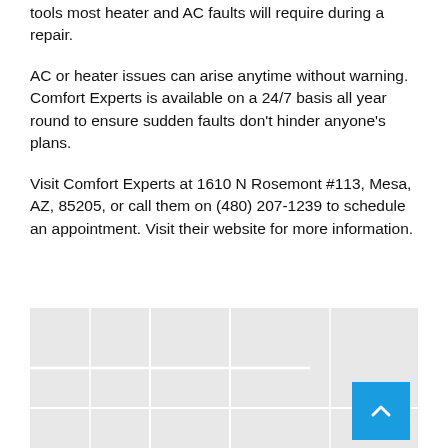tools most heater and AC faults will require during a repair.
AC or heater issues can arise anytime without warning. Comfort Experts is available on a 24/7 basis all year round to ensure sudden faults don't hinder anyone's plans.
Visit Comfort Experts at 1610 N Rosemont #113, Mesa, AZ, 85205, or call them on (480) 207-1239 to schedule an appointment. Visit their website for more information.
[Figure (map): Embedded map showing location of Comfort Experts at 1610 N Rosemont #113, Mesa, AZ 85205. Light gray background map area with a scroll-to-top button (blue square with white upward chevron) in the bottom-right corner.]